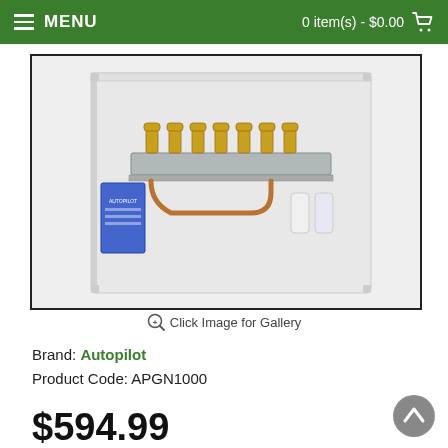MENU   0 item(s) - $0.00
[Figure (photo): An Autopilot APGN1000 CO2 generator or gas natural unit mounted in a white metal enclosure, showing brass valves/burners on a manifold bar, copper tubing, and various internal components.]
Click Image for Gallery
Brand: Autopilot
Product Code: APGN1000
$594.99